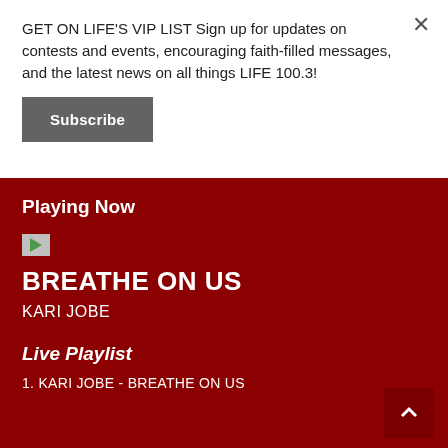GET ON LIFE'S VIP LIST Sign up for updates on contests and events, encouraging faith-filled messages, and the latest news on all things LIFE 100.3!
Subscribe
Playing Now
[Figure (other): Small broken image thumbnail for album art]
BREATHE ON US
KARI JOBE
Live Playlist
1. KARI JOBE - BREATHE ON US